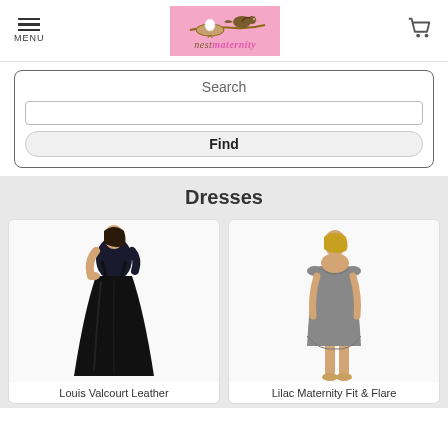MENU | nest maternity logo | cart
Search
[Figure (screenshot): Search input field with Find button]
Dresses
[Figure (photo): Louis Valcourt Leather dress - black floor-length gown worn by model]
[Figure (photo): Lilac Maternity Fit & Flare dress - grey short dress worn by model]
Louis Valcourt Leather
Lilac Maternity Fit & Flare